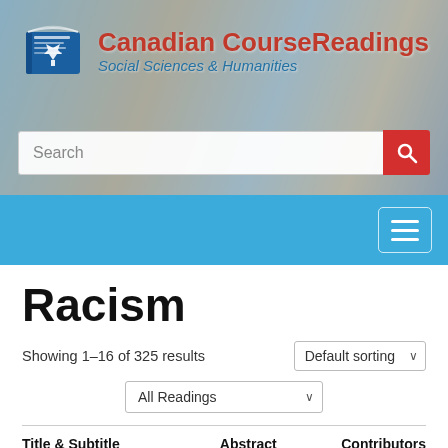[Figure (screenshot): Canadian CourseReadings website header with logo, Social Sciences & Humanities subtitle, search bar, and blue navigation bar with hamburger menu]
Racism
Showing 1–16 of 325 results
| Title & Subtitle | Abstract | Contributors |
| --- | --- | --- |